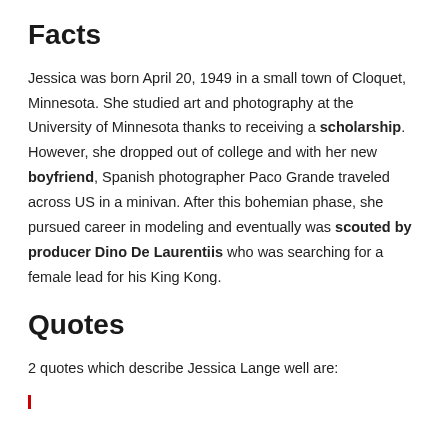Facts
Jessica was born April 20, 1949 in a small town of Cloquet, Minnesota. She studied art and photography at the University of Minnesota thanks to receiving a scholarship. However, she dropped out of college and with her new boyfriend, Spanish photographer Paco Grande traveled across US in a minivan. After this bohemian phase, she pursued career in modeling and eventually was scouted by producer Dino De Laurentiis who was searching for a female lead for his King Kong.
Quotes
2 quotes which describe Jessica Lange well are: